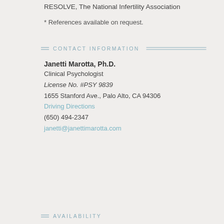RESOLVE, The National Infertility Association
* References available on request.
CONTACT INFORMATION
Janetti Marotta, Ph.D.
Clinical Psychologist
License No. #PSY 9839
1655 Stanford Ave., Palo Alto, CA 94306
Driving Directions
(650) 494-2347
janetti@janettimarotta.com
AVAILABILITY